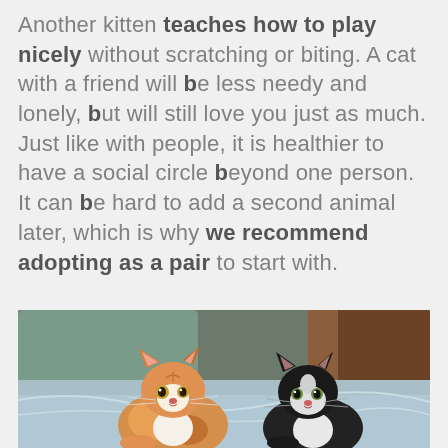Another kitten teaches how to play nicely without scratching or biting. A cat with a friend will be less needy and lonely, but will still love you just as much. Just like with people, it is healthier to have a social circle beyond one person. It can be hard to add a second animal later, which is why we recommend adopting as a pair to start with.
[Figure (photo): Two kittens sitting together on a light blue blanket and couch. One kitten on the left is orange and white calico, the other on the right is black and white. They are looking toward the camera.]